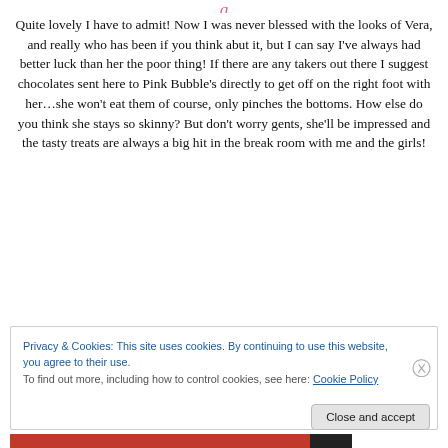…g…
Quite lovely I have to admit! Now I was never blessed with the looks of Vera, and really who has been if you think abut it, but I can say I've always had better luck than her the poor thing! If there are any takers out there I suggest chocolates sent here to Pink Bubble's directly to get off on the right foot with her…she won't eat them of course, only pinches the bottoms. How else do you think she stays so skinny? But don't worry gents, she'll be impressed and the tasty treats are always a big hit in the break room with me and the girls!
Privacy & Cookies: This site uses cookies. By continuing to use this website, you agree to their use.
To find out more, including how to control cookies, see here: Cookie Policy